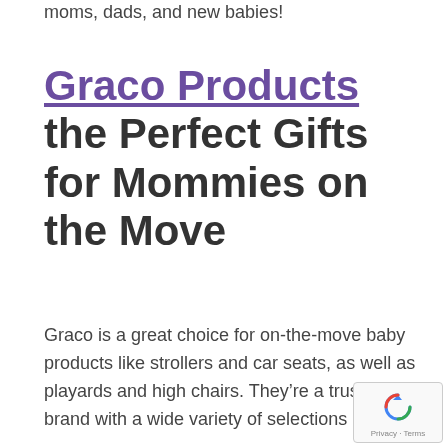moms, dads, and new babies!
Graco Products the Perfect Gifts for Mommies on the Move
Graco is a great choice for on-the-move baby products like strollers and car seats, as well as playards and high chairs. They’re a trusted brand with a wide variety of selections of quality